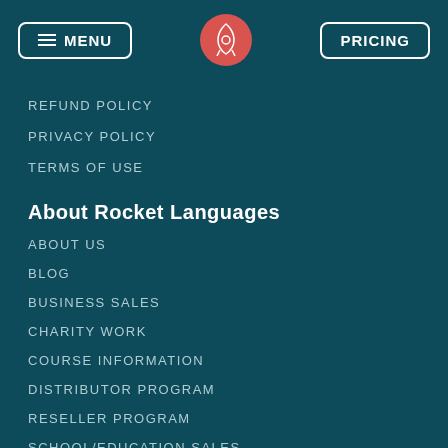MENU | [Rocket Languages Logo] | PRICING
REFUND POLICY
PRIVACY POLICY
TERMS OF USE
About Rocket Languages
ABOUT US
BLOG
BUSINESS SALES
CHARITY WORK
COURSE INFORMATION
DISTRIBUTOR PROGRAM
RESELLER PROGRAM
SCHOOL/EDUCATION SALES